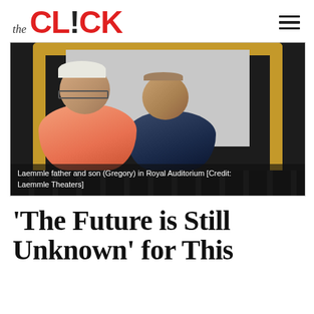the CLICK
[Figure (photo): Two men (Laemmle father and son Gregory) sitting in a movie theater auditorium with a large cinema screen and ornate gold arch framing behind them. The older man is wearing an orange shirt; the younger man is in a dark navy polo shirt.]
Laemmle father and son (Gregory) in Royal Auditorium [Credit: Laemmle Theaters]
‘The Future is Still Unknown’ for This